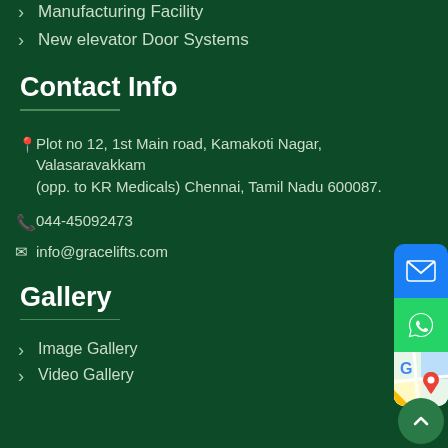Manufacturing Facility
New elevator Door Systems
Contact Info
Plot no 12, 1st Main road, Kamakoti Nagar, Valasaravakkam (opp. to KR Medicals) Chennai, Tamil Nadu 600087.
044-45092473
info@gracelifts.com
Gallery
Image Gallery
Video Gallery
[Figure (other): Floating action buttons on the right side: email (blue), WhatsApp (green), Google Maps, and a scroll-to-top button]